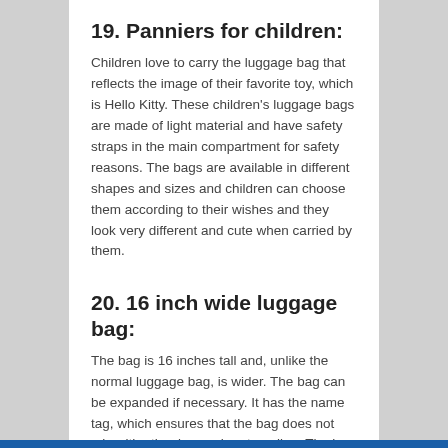19. Panniers for children:
Children love to carry the luggage bag that reflects the image of their favorite toy, which is Hello Kitty. These children's luggage bags are made of light material and have safety straps in the main compartment for safety reasons. The bags are available in different shapes and sizes and children can choose them according to their wishes and they look very different and cute when carried by them.
20. 16 inch wide luggage bag:
The bag is 16 inches tall and, unlike the normal luggage bag, is wider. The bag can be expanded if necessary. It has the name tag, which ensures that the bag does not mix with other bags when traveling. The bag looks very trendy and elegant and has smooth wheels and a wide handle that makes carrying the bag easier.